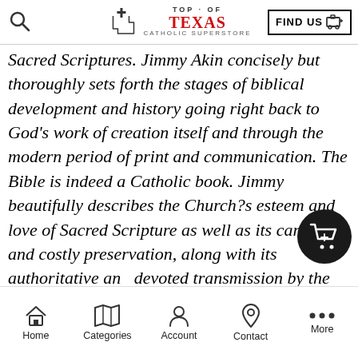Top of Texas Catholic Superstore — FIND US
Sacred Scriptures. Jimmy Akin concisely but thoroughly sets forth the stages of biblical development and history going right back to God's work of creation itself and through the modern period of print and communication. The Bible is indeed a Catholic book. Jimmy beautifully describes the Church?s esteem and love of Sacred Scripture as well as its careful, and costly preservation, along with its authoritative and devoted transmission by the Catholic Church, without which we simply would not have the Bible
Home  Categories  Account  Contact  More